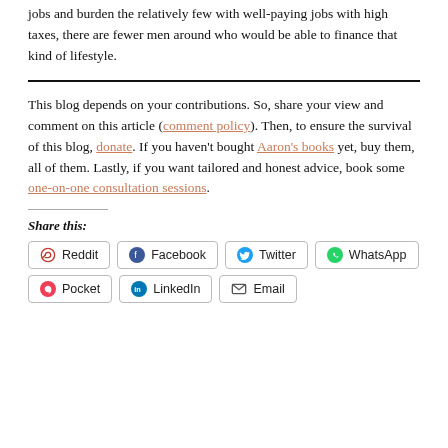jobs and burden the relatively few with well-paying jobs with high taxes, there are fewer men around who would be able to finance that kind of lifestyle.
This blog depends on your contributions. So, share your view and comment on this article (comment policy). Then, to ensure the survival of this blog, donate. If you haven't bought Aaron's books yet, buy them, all of them. Lastly, if you want tailored and honest advice, book some one-on-one consultation sessions.
Share this:
Reddit | Facebook | Twitter | WhatsApp | Pocket | LinkedIn | Email